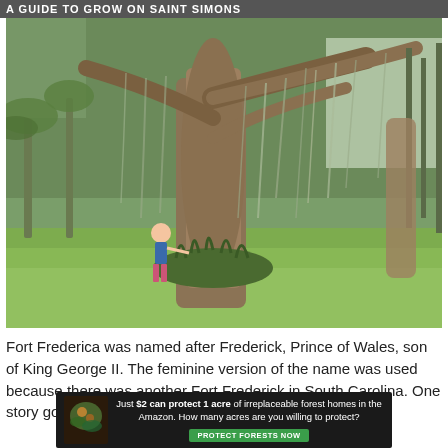A GUIDE TO GROW ON SAINT SIMONS
[Figure (photo): A woman standing next to a massive live oak tree draped in Spanish moss, with palm trees and green lawn visible in the background. The setting appears to be Fort Frederica on Saint Simons Island, Georgia.]
Fort Frederica was named after Frederick, Prince of Wales, son of King George II. The feminine version of the name was used because there was another Fort Frederick in South Carolina. One story goes it is also the
[Figure (infographic): Advertisement banner with dark background showing a rainforest animal image on the left and text: 'Just $2 can protect 1 acre of irreplaceable forest homes in the Amazon. How many acres are you willing to protect?' with a green 'PROTECT FORESTS NOW' button.]